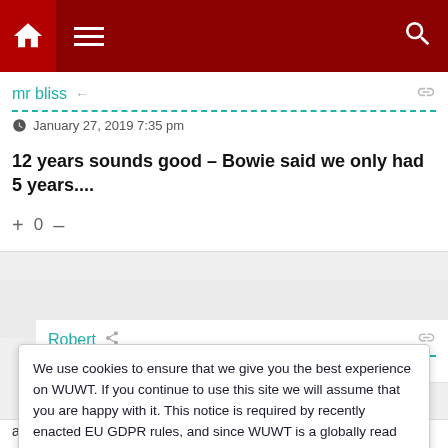Navigation bar with home, menu, and search icons
mr bliss
January 27, 2019 7:35 pm
12 years sounds good – Bowie said we only had 5 years....
+ 0 –
Robert
January 27, 2019 11:28 pm
We use cookies to ensure that we give you the best experience on WUWT. If you continue to use this site we will assume that you are happy with it. This notice is required by recently enacted EU GDPR rules, and since WUWT is a globally read website, we need to keep the bureaucrats off our case! Cookie Policy
Close and accept
always count on them to either change the subject or they